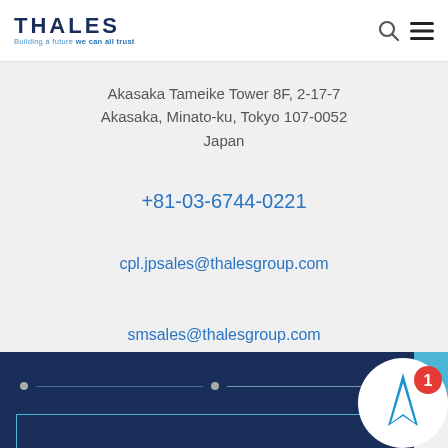[Figure (logo): Thales logo with text 'THALES' and tagline 'Building a future we can all trust']
Akasaka Tameike Tower 8F, 2-17-7
Akasaka, Minato-ku, Tokyo 107-0052
Japan
+81-03-6744-0221
cpl.jpsales@thalesgroup.com
smsales@thalesgroup.com